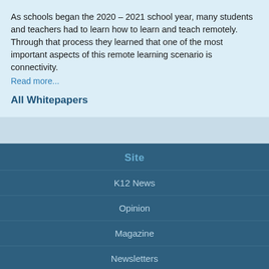As schools began the 2020 – 2021 school year, many students and teachers had to learn how to learn and teach remotely. Through that process they learned that one of the most important aspects of this remote learning scenario is connectivity.
Read more...
All Whitepapers
Site
K12 News
Opinion
Magazine
Newsletters
Subscribe